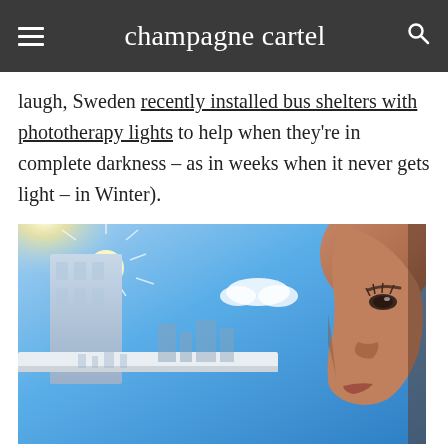champagne cartel
laugh, Sweden recently installed bus shelters with phototherapy lights to help when they're in complete darkness – as in weeks when it never gets light – in Winter).
[Figure (photo): Close-up of a person's face looking up toward a bright sunny blue sky with buildings and cityscape in background, sunlight flare visible]
So what to do? Spending time outside – even if